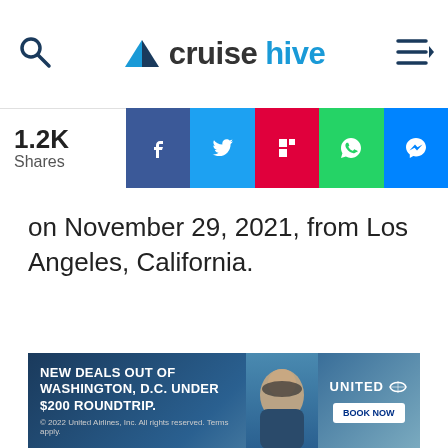cruisehive
[Figure (infographic): Social share bar showing 1.2K Shares with Facebook, Twitter, Flipboard, WhatsApp, and Messenger buttons]
on November 29, 2021, from Los Angeles, California.
[Figure (infographic): United Airlines advertisement: NEW DEALS OUT OF WASHINGTON, D.C. UNDER $200 ROUNDTRIP. BOOK NOW. © 2022 United Airlines, Inc. All rights reserved. Terms apply.]